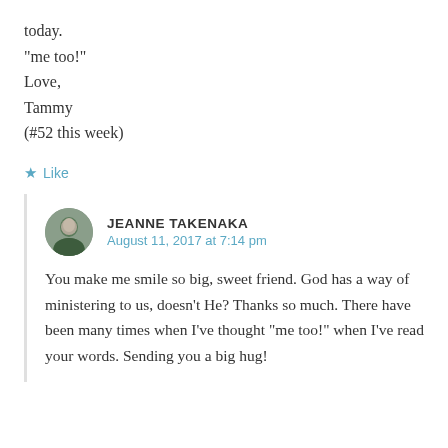today.
“me too!”
Love,
Tammy
(#52 this week)
★ Like
JEANNE TAKENAKA
August 11, 2017 at 7:14 pm
You make me smile so big, sweet friend. God has a way of ministering to us, doesn’t He? Thanks so much. There have been many times when I’ve thought “me too!” when I’ve read your words. Sending you a big hug!